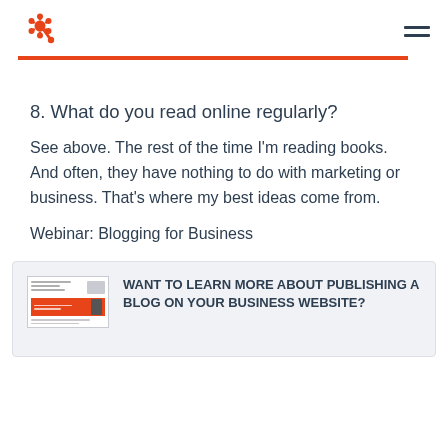HubSpot logo and navigation
8. What do you read online regularly?
See above. The rest of the time I'm reading books. And often, they have nothing to do with marketing or business. That's where my best ideas come from.
Webinar: Blogging for Business
[Figure (infographic): CTA box with thumbnail image of a webinar cover and text 'WANT TO LEARN MORE ABOUT PUBLISHING A BLOG ON YOUR BUSINESS WEBSITE?']